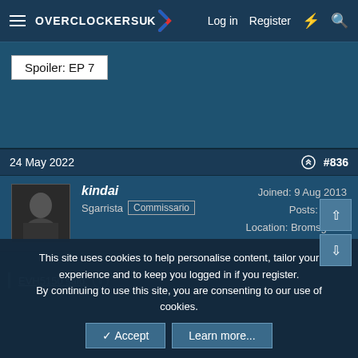Overclockers UK - Log in | Register
Spoiler: EP 7
24 May 2022  #836
kindai
Sgarrista Commissario
Joined: 9 Aug 2013
Posts: 8,925
Location: Bromsgrove
EVH5150 said: ↑
This site uses cookies to help personalise content, tailor your experience and to keep you logged in if you register.
By continuing to use this site, you are consenting to our use of cookies.
✓ Accept   Learn more...